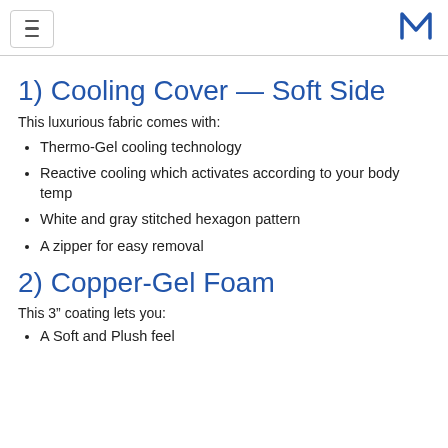[hamburger menu button] [M logo]
1) Cooling Cover — Soft Side
This luxurious fabric comes with:
Thermo-Gel cooling technology
Reactive cooling which activates according to your body temp
White and gray stitched hexagon pattern
A zipper for easy removal
2) Copper-Gel Foam
This 3” coating lets you:
A Soft and Plush feel